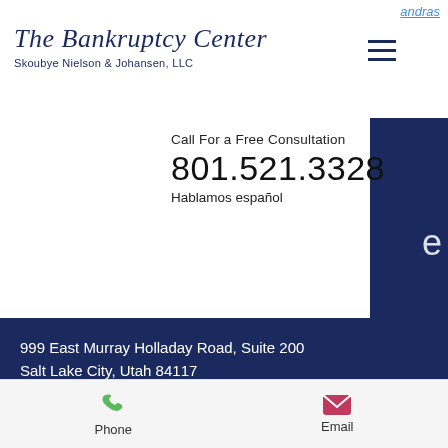andras
The Bankruptcy Center
Skoubye Nielson & Johansen, LLC
Call For a Free Consultation
801.521.3328
Hablamos español
999 East Murray Holladay Road, Suite 200
Salt Lake City, Utah 84117
Email: mark@snjlegal.com
Tel: 801-521-3328
[Figure (other): LinkedIn and Facebook social media icons]
We are a debt relief agency. We help people file for bankruptcy relief under the Bankruptcy Code.
Phone    Email